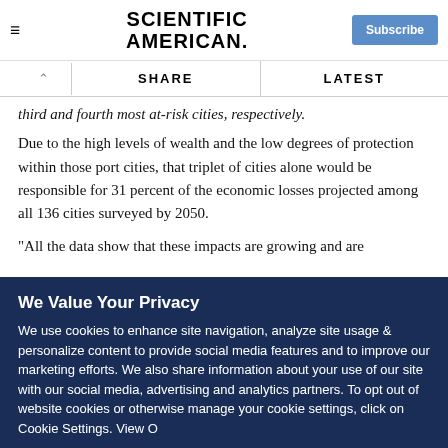SCIENTIFIC AMERICAN
third and fourth most at-risk cities, respectively.
Due to the high levels of wealth and the low degrees of protection within those port cities, that triplet of cities alone would be responsible for 31 percent of the economic losses projected among all 136 cities surveyed by 2050.
"All the data show that these impacts are growing and are
We Value Your Privacy
We use cookies to enhance site navigation, analyze site usage & personalize content to provide social media features and to improve our marketing efforts. We also share information about your use of our site with our social media, advertising and analytics partners. To opt out of website cookies or otherwise manage your cookie settings, click on Cookie Settings. View O...